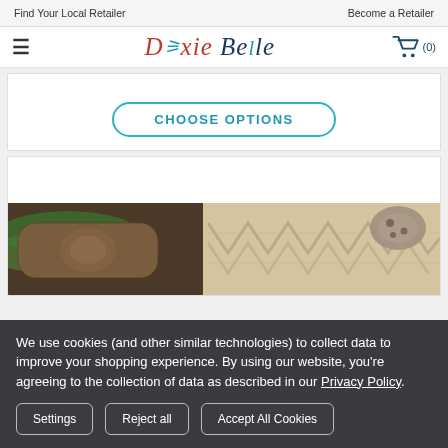Find Your Local Retailer   Become a Retailer
[Figure (logo): Dixie Belle Paint Company logo with hamburger menu and shopping cart]
[Figure (other): Choose Options button for a product]
[Figure (photo): Product image showing burlap/fabric craft materials with stencil patterns]
We use cookies (and other similar technologies) to collect data to improve your shopping experience. By using our website, you're agreeing to the collection of data as described in our Privacy Policy.
Settings   Reject all   Accept All Cookies